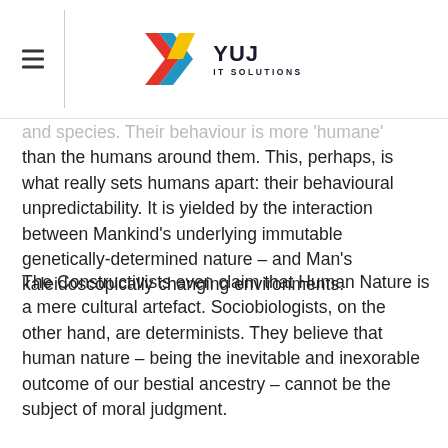YUJ IT SOLUTIONS
and species. Their behaviour is more 'humane' than the humans around them. This, perhaps, is what really sets humans apart: their behavioural unpredictability. It is yielded by the interaction between Mankind's underlying immutable genetically-determined nature – and Man's kaleidoscopically changing environments.
The Constructivists even claim that Human Nature is a mere cultural artefact. Sociobiologists, on the other hand, are determinists. They believe that human nature – being the inevitable and inexorable outcome of our bestial ancestry – cannot be the subject of moral judgment.